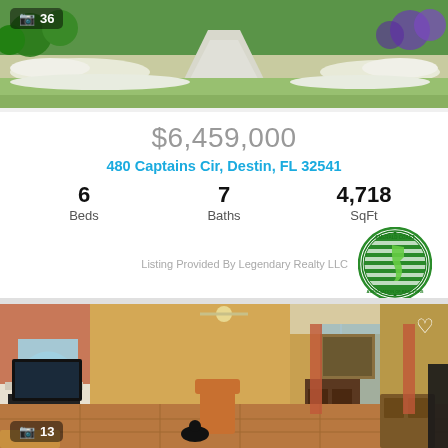[Figure (photo): Exterior aerial view of property with green lawn, driveway, and landscaping. Photo count overlay showing 36 photos.]
$6,459,000
480 Captains Cir, Destin, FL 32541
6 Beds   7 Baths   4,718 SqFt
[Figure (logo): Emerald Coast Association of Realtors circular green logo]
Listing Provided By Legendary Realty LLC
[Figure (photo): Interior living room with fireplace, large arched windows, TV, orange/yellow walls, tile floors, and furniture. Photo count overlay showing 13 photos.]